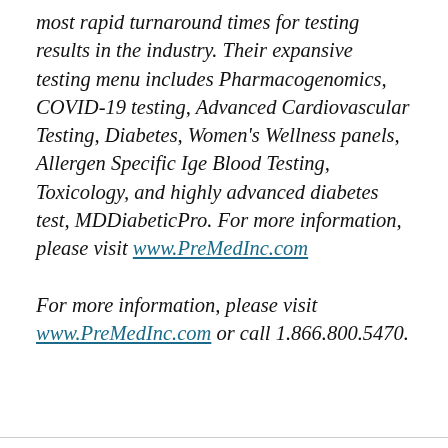most rapid turnaround times for testing results in the industry. Their expansive testing menu includes Pharmacogenomics, COVID-19 testing, Advanced Cardiovascular Testing, Diabetes, Women's Wellness panels, Allergen Specific Ige Blood Testing, Toxicology, and highly advanced diabetes test, MDDiabeticPro. For more information, please visit www.PreMedInc.com
For more information, please visit www.PreMedInc.com or call 1.866.800.5470.